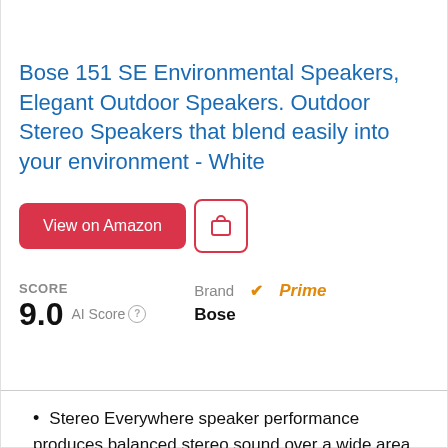Bose 151 SE Environmental Speakers, Elegant Outdoor Speakers. Outdoor Stereo Speakers that blend easily into your environment - White
View on Amazon
SCORE 9.0 AI Score | Brand Bose | Prime
Stereo Everywhere speaker performance produces balanced stereo sound over a wide area. The result of proprietary Bose technologies, these speakers let you enjoy